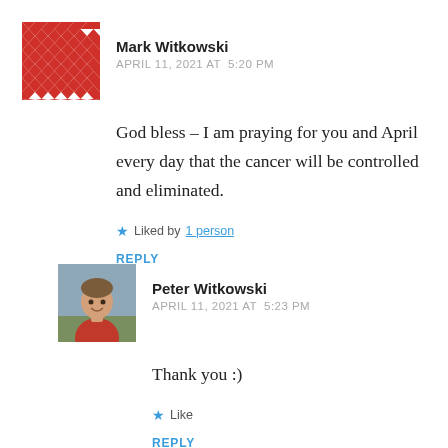[Figure (illustration): Red and white geometric pattern avatar for Mark Witkowski]
Mark Witkowski
APRIL 11, 2021 AT  5:20 PM
God bless – I am praying for you and April every day that the cancer will be controlled and eliminated.
★ Liked by 1 person
REPLY
[Figure (photo): Photo of Peter Witkowski, a man in a red shirt outdoors]
Peter Witkowski
APRIL 11, 2021 AT  5:23 PM
Thank you :)
★ Like
REPLY